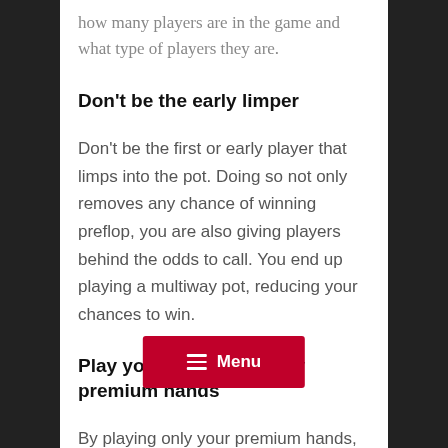how many players are in the game and what type of players they are.
Don't be the early limper
Don't be the first or early player that limps into the pot. Doing so not only removes any chance of winning preflop, you are also giving players behind the odds to call. You end up playing a multiway pot, reducing your chances to win.
Play your range, not only premium hands
By playing only your premium hands, you could just play your cards face up as the opponents most likely know that you most likely are holding a …d of implied